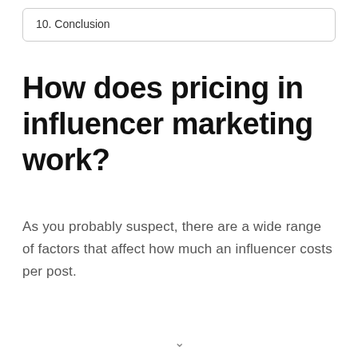10. Conclusion
How does pricing in influencer marketing work?
As you probably suspect, there are a wide range of factors that affect how much an influencer costs per post.